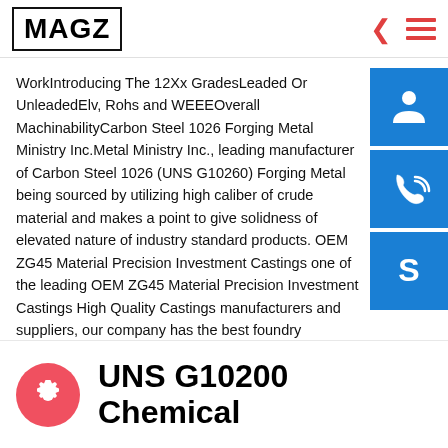MAGZ
WorkIntroducing The 12Xx GradesLeaded Or UnleadedElv, Rohs and WEEEOverall MachinabilityCarbon Steel 1026 Forging Metal Ministry Inc.Metal Ministry Inc., leading manufacturer of Carbon Steel 1026 (UNS G10260) Forging Metal being sourced by utilizing high caliber of crude material and makes a point to give solidness of elevated nature of industry standard products. OEM ZG45 Material Precision Investment Castings one of the leading OEM ZG45 Material Precision Investment Castings High Quality Castings manufacturers and suppliers, our company has the best foundry technique. Please rest assured to buy high quality OEM ZG45 Material Precision Investment Castings High Quality Castings at
UNS G10200 Chemical